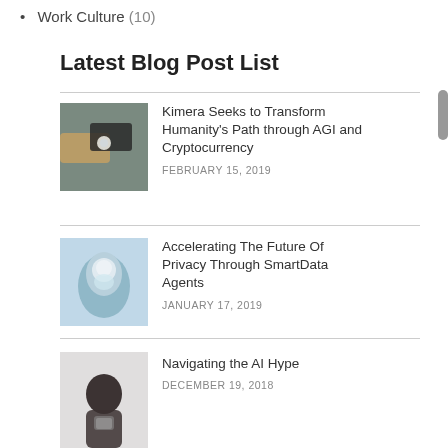Work Culture (10)
Latest Blog Post List
[Figure (photo): Two hands reaching toward each other with a light glow between them, robotic and human hands]
Kimera Seeks to Transform Humanity’s Path through AGI and Cryptocurrency
FEBRUARY 15, 2019
[Figure (photo): Illustrated blue human head with flower/brain imagery inside]
Accelerating The Future Of Privacy Through SmartData Agents
JANUARY 17, 2019
[Figure (photo): Person in dark clothing holding a phone, viewed from behind]
Navigating the AI Hype
DECEMBER 19, 2018